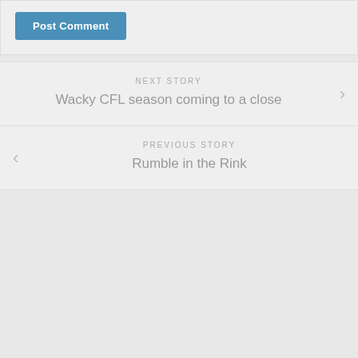Post Comment
NEXT STORY
Wacky CFL season coming to a close
PREVIOUS STORY
Rumble in the Rink